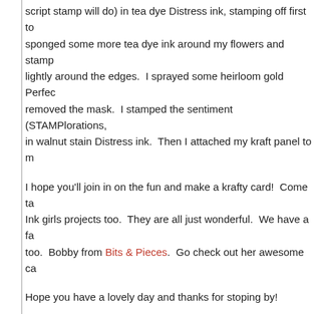script stamp will do) in tea dye Distress ink, stamping off first to sponged some more tea dye ink around my flowers and stamp lightly around the edges.  I sprayed some heirloom gold Perfec removed the mask.  I stamped the sentiment (STAMPlorations, in walnut stain Distress ink.  Then I attached my kraft panel to m
I hope you'll join in on the fun and make a krafty card!  Come ta Ink girls projects too.  They are all just wonderful.  We have a fa too.  Bobby from Bits & Pieces.  Go check out her awesome ca
Hope you have a lovely day and thanks for stoping by!
I'd like to link up to the following challenges:
Craft Stamper Magazine - Make it , Take it challenge - use a sta
Virginia's View Challenge - 100% Stamping
Penny Black and More challenge - anything goes with a sentim
Posted by Kim M at 7/18/2015
16 comments: